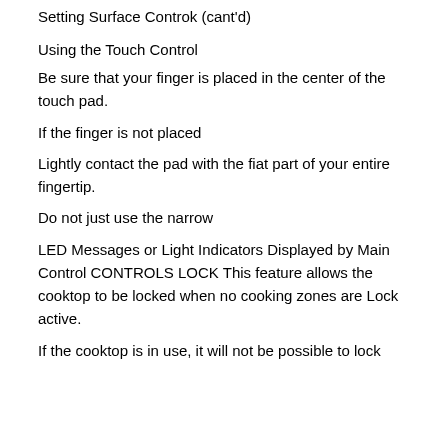Setting Surface Controk (cant'd)
Using the Touch Control
Be sure that your finger is placed in the center of the touch pad.
If the finger is not placed
Lightly contact the pad with the fiat part of your entire fingertip.
Do not just use the narrow
LED Messages or Light Indicators Displayed by Main Control CONTROLS LOCK This feature allows the cooktop to be locked when no cooking zones are Lock active.
If the cooktop is in use, it will not be possible to lock